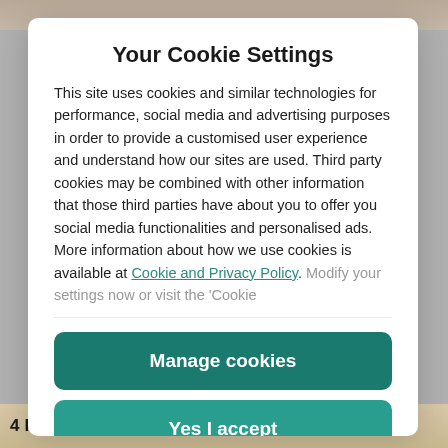[Figure (screenshot): Background photo of pancakes/food, partially visible at top and bottom of page behind modal overlay]
Your Cookie Settings
This site uses cookies and similar technologies for performance, social media and advertising purposes in order to provide a customised user experience and understand how our sites are used. Third party cookies may be combined with other information that those third parties have about you to offer you social media functionalities and personalised ads. More information about how we use cookies is available at Cookie and Privacy Policy. Modify your settings now or visit the 'Cookie
Manage cookies
Yes I accept
4 Healthy Pancake Recipes You Need To